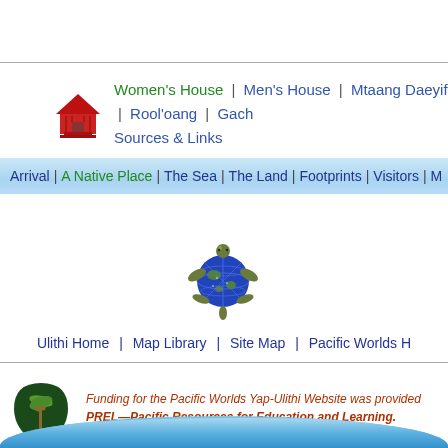[Figure (illustration): Red house icon representing Women's House navigation logo]
Women's House | Men's House | Mtaang Daeyif | Rool'oang | Gach... | Sources & Links
Arrival | A Native Place | The Sea | The Land | Footprints | Visitors | M...
[Figure (illustration): Sea turtle illustration with globe/earth body in blue and green]
Ulithi Home | Map Library | Site Map | Pacific Worlds H...
[Figure (logo): PREL logo - circular badge with palm tree and text PREL on dark green background]
Funding for the Pacific Worlds Yap-Ulithi Website was provided... PREL—Pacific Resources for Education and Learning. Institutional support was provided by Towson University.
[Figure (illustration): Blue ocean/water curved bar at bottom of page]